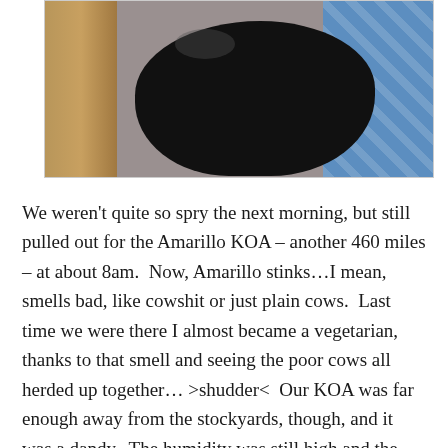[Figure (photo): Overhead view of a black cat lying on a gray carpet floor, with a wooden furniture leg visible on the left and blue patterned fabric/cushion on the right.]
We weren't quite so spry the next morning, but still pulled out for the Amarillo KOA – another 460 miles – at about 8am.  Now, Amarillo stinks…I mean, smells bad, like cowshit or just plain cows.  Last time we were there I almost became a vegetarian, thanks to that smell and seeing the poor cows all herded up together… >shudder<  Our KOA was far enough away from the stockyards, though, and it was a dandy.  The humidity was still high and the pool was cool.  They had a lot of artsy metal sculptures around…our site was facing a